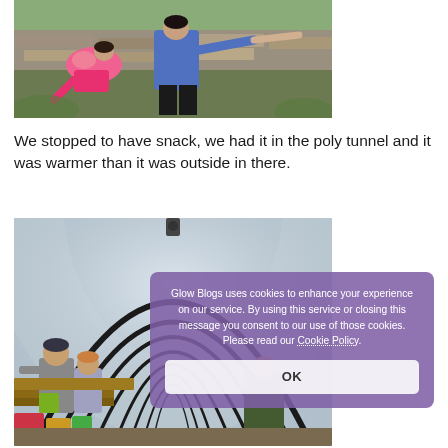[Figure (photo): Outdoor photo showing children bending over in a garden area, one wearing a pink hoodie and one wearing a blue hoodie, with a stone wall and green vegetation in background.]
We stopped to have snack, we had it in the poly tunnel and it was warmer than it was outside in there.
[Figure (photo): Interior of a poly tunnel (polytunnel greenhouse) with curved black metal hoops and clear plastic covering, children sitting at a table inside having a snack.]
Glow Blogs uses cookies to enhance your experience on our service. By using this service or closing this message you consent to our use of those cookies. Please read our Cookie Policy.